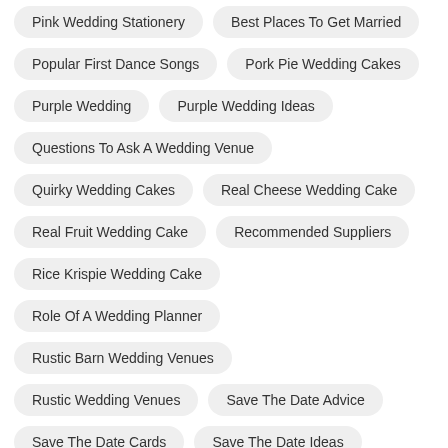Pink Wedding Stationery
Best Places To Get Married
Popular First Dance Songs
Pork Pie Wedding Cakes
Purple Wedding
Purple Wedding Ideas
Questions To Ask A Wedding Venue
Quirky Wedding Cakes
Real Cheese Wedding Cake
Real Fruit Wedding Cake
Recommended Suppliers
Rice Krispie Wedding Cake
Role Of A Wedding Planner
Rustic Barn Wedding Venues
Rustic Wedding Venues
Save The Date Advice
Save The Date Cards
Save The Date Ideas